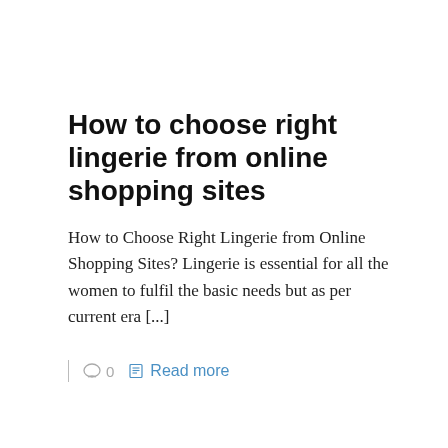How to choose right lingerie from online shopping sites
How to Choose Right Lingerie from Online Shopping Sites? Lingerie is essential for all the women to fulfil the basic needs but as per current era [...]